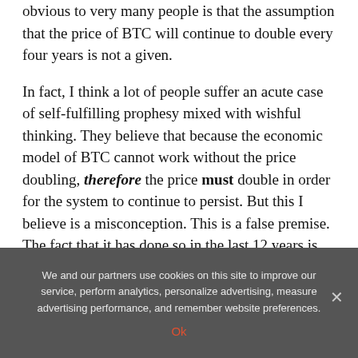obvious to very many people is that the assumption that the price of BTC will continue to double every four years is not a given.
In fact, I think a lot of people suffer an acute case of self-fulfilling prophesy mixed with wishful thinking. They believe that because the economic model of BTC cannot work without the price doubling, therefore the price must double in order for the system to continue to persist. But this I believe is a misconception. This is a false premise. The fact that it has done so in the last 12 years is due to many other reasons, most of these reasons is because the hype cycle that Bitcoin has generated had been continually recruiting new people
We and our partners use cookies on this site to improve our service, perform analytics, personalize advertising, measure advertising performance, and remember website preferences.
Ok